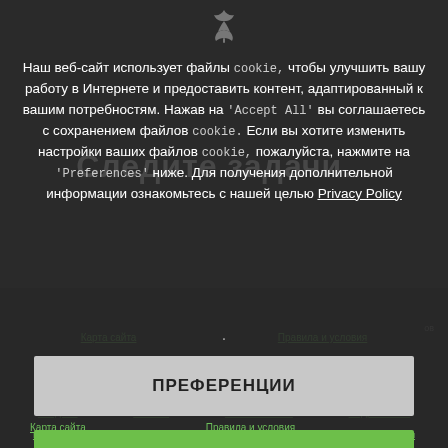[Figure (logo): Small decorative fleur-de-lis or ornament icon at top center of page]
Наш веб-сайт использует файлы cookie, чтобы улучшить вашу работу в Интернете и предоставить контент, адаптированный к вашим потребностям. Нажав на 'Accept All' вы соглашаетесь с сохранением файлов cookie. Если вы хотите изменить настройки ваших файлов cookie, пожалуйста, нажмите на 'Preferences' ниже. Для получения дополнительной информации ознакомьтесь с нашей целью Privacy Policy
·
ПРЕФЕРЕНЦИИ
Карта сайта
Правила и условия
ПРИНИМАЮТ ВСЕ
Введние
Контакт
Расположение
Подразнения